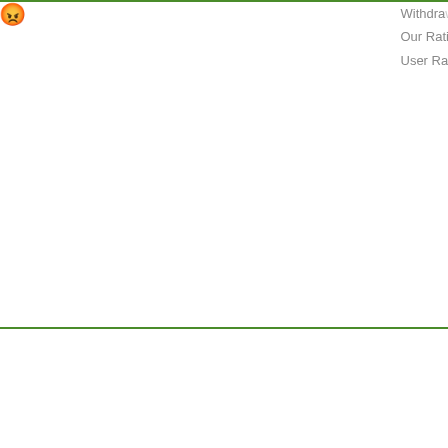280%-350%-590%-980%
[Figure (screenshot): Payment method icons: small globe icon, credit card icon, H letter icon (blue)]
[Figure (screenshot): Payment badges: Perfect Money (we accept), PAYEER, bitcoin]
zessis.net
[Figure (screenshot): zessis.net website screenshot thumbnail]
WAITING
Min/Max: 1
Referral: 7
Withdrawal:
Our Rating:
User Rating:
[Figure (screenshot): Emoji rating icons: happy, neutral, sad, angry]
0  0  0  0
200% after 100 hours
[Figure (screenshot): Payment method icons: globe, credit card, H (blue)]
[Figure (screenshot): Payment badges: Perfect Money, PAYEER, bitcoin]
primi.cc
WAITING